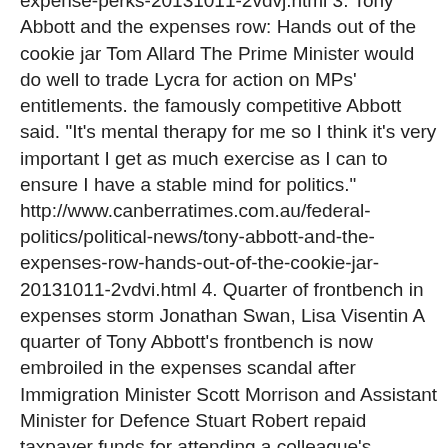politics/political-opinion/tony-abbott-trust-and-expense-perks-20131011-2vdvj.html 3. Tony Abbott and the expenses row: Hands out of the cookie jar Tom Allard The Prime Minister would do well to trade Lycra for action on MPs' entitlements. the famously competitive Abbott said. "It's mental therapy for me so I think it's very important I get as much exercise as I can to ensure I have a stable mind for politics." http://www.canberratimes.com.au/federal-politics/political-news/tony-abbott-and-the-expenses-row-hands-out-of-the-cookie-jar-20131011-2vdvi.html 4. Quarter of frontbench in expenses storm Jonathan Swan, Lisa Visentin A quarter of Tony Abbott's frontbench is now embroiled in the expenses scandal after Immigration Minister Scott Morrison and Assistant Minister for Defence Stuart Robert repaid taxpayer funds for attending a colleague's wedding. http://www.canberratimes.com.au/federal-politics/political-news/quarter-of-frontbench-in-expenses-storm-20131011-2vdxb.html 5. Tony